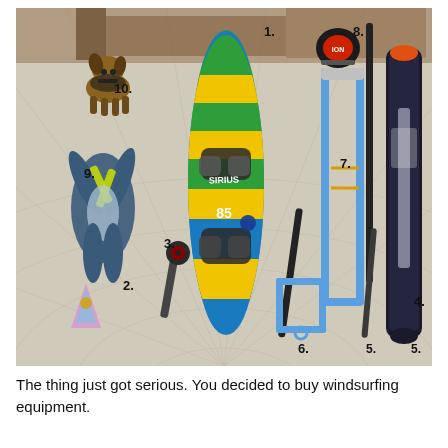[Figure (photo): Overhead flat-lay photo of windsurfing equipment laid out on a tiled patio floor, with items numbered 1–10. Items include: 1. windsurfing board (green/yellow/blue striped), 2. small fin/accessory, 3. mast base/joint, 4. sail bag, 5. boom/mast sections (two), 6. harness lines/uphaul, 7. boom, 8. harness/harness spreader bar, 9. wetsuit, 10. dog. Wooden chairs visible in upper background.]
The thing just got serious. You decided to buy windsurfing equipment.